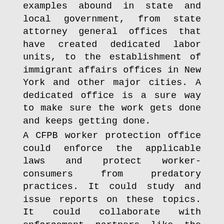examples abound in state and local government, from state attorney general offices that have created dedicated labor units, to the establishment of immigrant affairs offices in New York and other major cities. A dedicated office is a sure way to make sure the work gets done and keeps getting done. A CFPB worker protection office could enforce the applicable laws and protect worker-consumers from predatory practices. It could study and issue reports on these topics. It could collaborate with enforcement partners like the Department of Labor, the DOT and the Federal Trade Commission to tackle interrelated problems including antitrust violations in the labor market, wage theft, worker misclassification, discrimination, labor trafficking and consumer finance abuses arising from employer-driven debt. Similarly, the DOT could create an office focused on protecting workers in the various transportation sectors, including truck drivers subject to abusive training